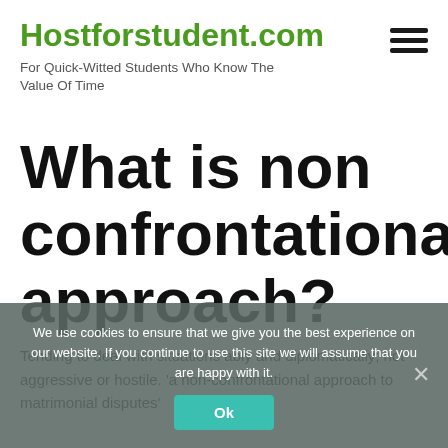Hostforstudent.com
For Quick-Witted Students Who Know The Value Of Time
What is non confrontational approach?
Tending to deal with situations ably and diplomatically; not aggressive or hostile. 'a non-confrontational approach to matrimonial disputes'
We use cookies to ensure that we give you the best experience on our website. If you continue to use this site we will assume that you are happy with it.